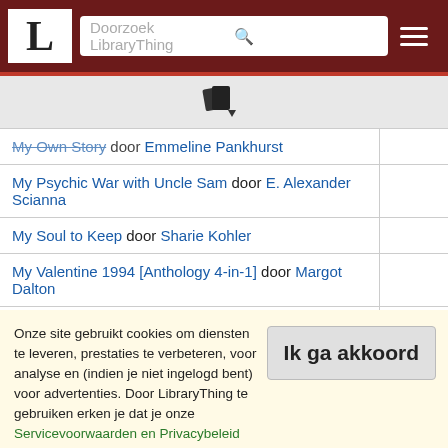[Figure (screenshot): LibraryThing website navigation bar with logo 'L', search box reading 'Doorzoek LibraryThing', and hamburger menu on dark red background]
[Figure (illustration): Book/document icon with a small dropdown arrow]
| Book |  |
| --- | --- |
| My Own Story door Emmeline Pankhurst |  |
| My Psychic War with Uncle Sam door E. Alexander Scianna |  |
| My Soul to Keep door Sharie Kohler |  |
| My Valentine 1994 [Anthology 4-in-1] door Margot Dalton |  |
| Mystery Bride door B.J. Daniels |  |
| Name Withheld door J. A. Jance |  |
Onze site gebruikt cookies om diensten te leveren, prestaties te verbeteren, voor analyse en (indien je niet ingelogd bent) voor advertenties. Door LibraryThing te gebruiken erken je dat je onze Servicevoorwaarden en Privacybeleid gelezen en begrepen hebt. Je gebruik van de site en diensten is onderhevig aan dit beleid en deze voorwaarden.
Ik ga akkoord